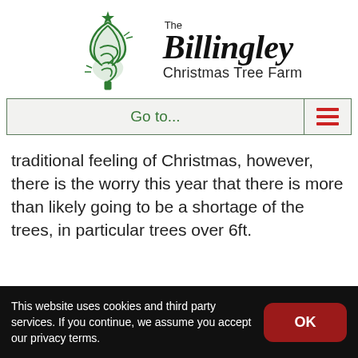[Figure (logo): The Billingley Christmas Tree Farm logo with green stylized Christmas tree on the left and 'The Billingley Christmas Tree Farm' text on the right]
[Figure (screenshot): Navigation bar with 'Go to...' text in green and a red hamburger menu icon on the right]
traditional feeling of Christmas, however, there is the worry this year that there is more than likely going to be a shortage of the trees, in particular trees over 6ft.
This website uses cookies and third party services. If you continue, we assume you accept our privacy terms.